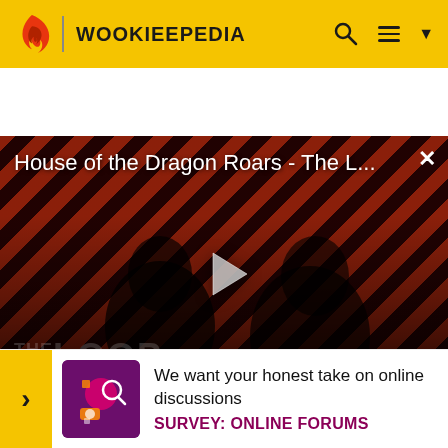WOOKIEEPEDIA
[Figure (screenshot): Video player showing 'House of the Dragon Roars - The L...' with a play button, diagonal red/dark stripe background pattern, silhouetted figures, 'THE LOOP' watermark, and NaN:NaN time display]
Gorneesh, who, with his minions, subsequently chase Wicket. Logray blows a horn, sounding the alarm, and Paploo... ensuing... d to hand,
[Figure (infographic): Survey banner: purple/magenta icon with survey graphics, text 'We want your honest take on online discussions', bold label 'SURVEY: ONLINE FORUMS']